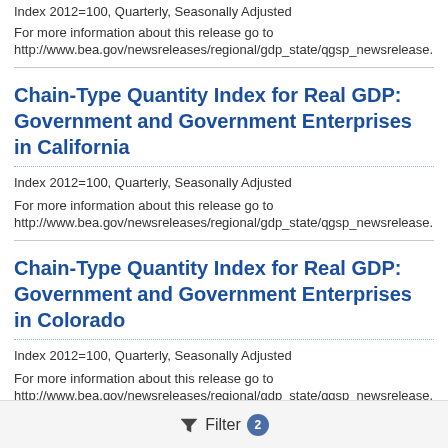Index 2012=100, Quarterly, Seasonally Adjusted
For more information about this release go to
http://www.bea.gov/newsreleases/regional/gdp_state/qgsp_newsrelease.htm
Chain-Type Quantity Index for Real GDP: Government and Government Enterprises in California
Index 2012=100, Quarterly, Seasonally Adjusted
For more information about this release go to
http://www.bea.gov/newsreleases/regional/gdp_state/qgsp_newsrelease.htm
Chain-Type Quantity Index for Real GDP: Government and Government Enterprises in Colorado
Index 2012=100, Quarterly, Seasonally Adjusted
For more information about this release go to
http://www.bea.gov/newsreleases/regional/gdp_state/qgsp_newsrelease.htm
Filter 2